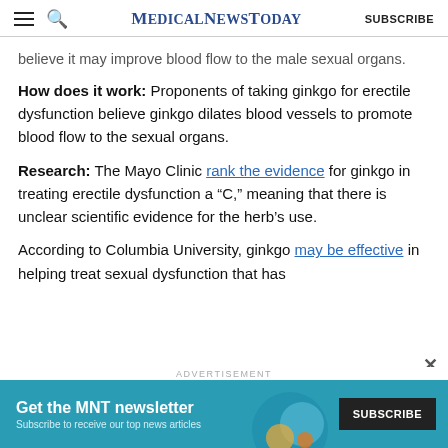MedicalNewsToday  SUBSCRIBE
believe it may improve blood flow to the male sexual organs.
How does it work: Proponents of taking ginkgo for erectile dysfunction believe ginkgo dilates blood vessels to promote blood flow to the sexual organs.
Research: The Mayo Clinic rank the evidence for ginkgo in treating erectile dysfunction a “C,” meaning that there is unclear scientific evidence for the herb’s use.
According to Columbia University, ginkgo may be effective in helping treat sexual dysfunction that has
[Figure (infographic): Blue advertisement banner for MNT newsletter with text 'Get the MNT newsletter', 'Subscribe to receive our top news articles', and a SUBSCRIBE button on dark background.]